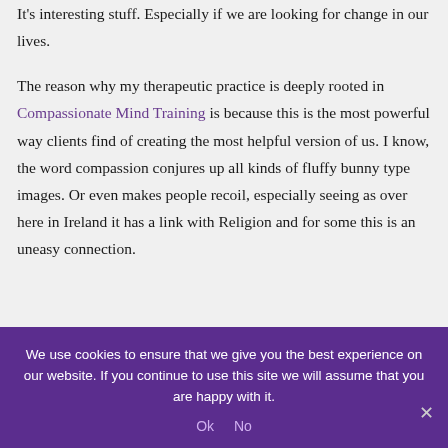It's interesting stuff. Especially if we are looking for change in our lives.
The reason why my therapeutic practice is deeply rooted in Compassionate Mind Training is because this is the most powerful way clients find of creating the most helpful version of us.  I know, the word compassion conjures up all kinds of fluffy bunny type images.  Or even makes people recoil, especially seeing as over here in Ireland it has a link with Religion and for some this is an uneasy connection.
We use cookies to ensure that we give you the best experience on our website. If you continue to use this site we will assume that you are happy with it.
Ok   No